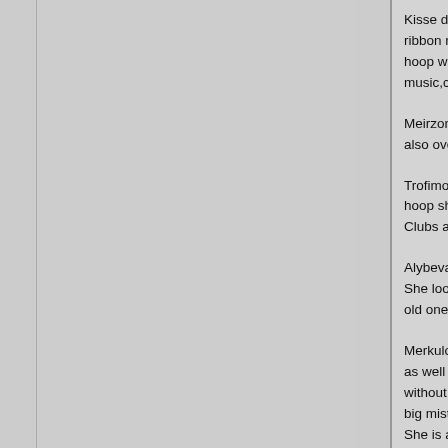Kisse did a great ball routine with her famous la... ribbon routine,but her scores looked quite low to... hoop was difficult but i don't feel the conection o... music,clubs was with drops and i like more her ...
Meirzon(Isr)did a good clean competion with gre... also overscored-26,800-hoop,26,250-ribbon.
Trofimova is amazing and the crowed favourite,... hoop she finished after the music,and i don't thi... Clubs and ribbon were with mistakes but very b...
Alybeva did a good competion and i enjoyed fro... She looked more confident and i like her new p... old one.
Merkulova did beatiful balances in her clubs rou... as well .Ribbon was better with a beautiful pivot... without drops but with mistakes with the body el... big mistakes. She is a talnted gymnast,with routines that i don... routines were a lot more beautiful) but she nee... isn't her time to lead.